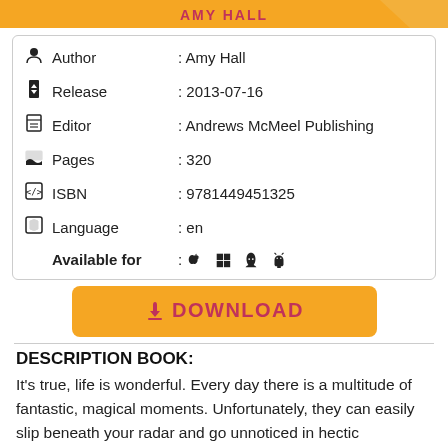[Figure (illustration): Orange book cover strip at top showing partial author name 'Amy Hall']
| Author | : Amy Hall |
| Release | : 2013-07-16 |
| Editor | : Andrews McMeel Publishing |
| Pages | : 320 |
| ISBN | : 9781449451325 |
| Language | : en |
| Available for | : (Apple, Windows, Linux, Android icons) |
[Figure (other): Yellow DOWNLOAD button with cloud icon]
DESCRIPTION BOOK:
It's true, life is wonderful. Every day there is a multitude of fantastic, magical moments. Unfortunately, they can easily slip beneath your radar and go unnoticed in hectic